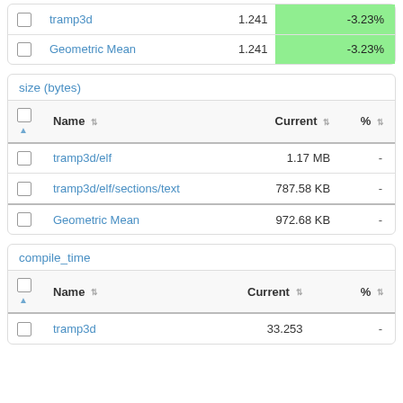|  | Name | Current | % |
| --- | --- | --- | --- |
| ☐ | tramp3d | 1.241 | -3.23% |
| ☐ | Geometric Mean | 1.241 | -3.23% |
size (bytes)
|  | Name | Current | % |
| --- | --- | --- | --- |
| ☐ | tramp3d/elf | 1.17 MB | - |
| ☐ | tramp3d/elf/sections/text | 787.58 KB | - |
| ☐ | Geometric Mean | 972.68 KB | - |
compile_time
|  | Name | Current | % |
| --- | --- | --- | --- |
| ☐ | tramp3d | 33.253 | - |